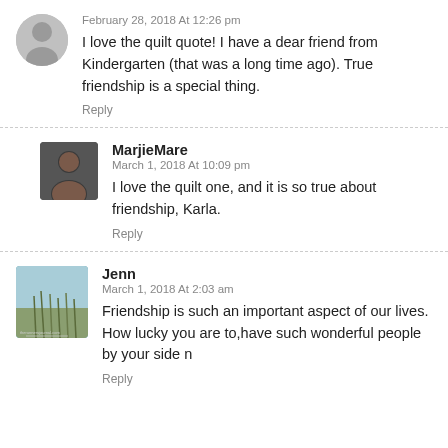February 28, 2018 At 12:26 pm
I love the quilt quote! I have a dear friend from Kindergarten (that was a long time ago). True friendship is a special thing.
Reply
MarjieMare
March 1, 2018 At 10:09 pm
I love the quilt one, and it is so true about friendship, Karla.
Reply
Jenn
March 1, 2018 At 2:03 am
Friendship is such an important aspect of our lives. How lucky you are to,have such wonderful people by your side n
Reply